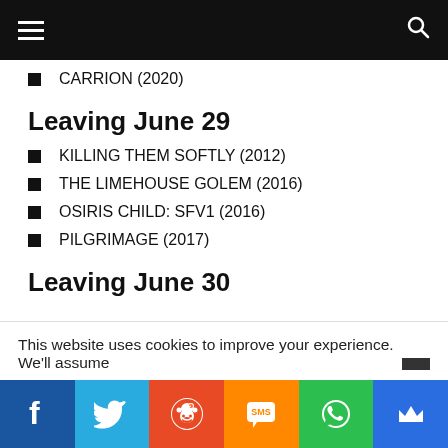Navigation bar with hamburger menu and search icon
CARRION (2020)
Leaving June 29
KILLING THEM SOFTLY (2012)
THE LIMEHOUSE GOLEM (2016)
OSIRIS CHILD: SFV1 (2016)
PILGRIMAGE (2017)
Leaving June 30
This website uses cookies to improve your experience. We'll assume
Social share bar: Facebook, Twitter, Reddit, SMS, WhatsApp, Crown